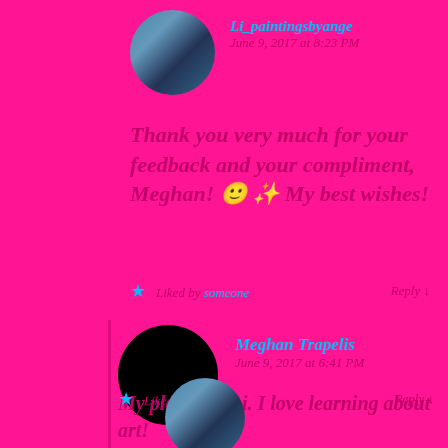[Figure (photo): Circular avatar photo with blue/teal underwater aesthetic]
Li_paintingsbyange
June 9, 2017 at 8:23 PM
Thank you very much for your feedback and your compliment, Meghan! 🙂 ✨ My best wishes!
Liked by someone · Reply
[Figure (photo): Black circle (redacted avatar) for Meghan Trapelis]
Meghan Trapelis
June 9, 2017 at 6:41 PM
My pleasure, Li. I love learning about art!
Liked by someone · Reply
[Figure (photo): Circular avatar photo at bottom]